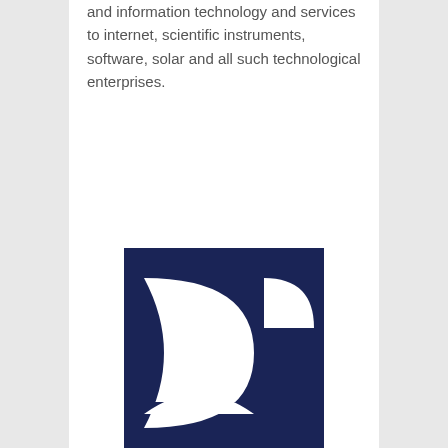and information technology and services to internet, scientific instruments, software, solar and all such technological enterprises.
[Figure (logo): Dark navy blue square logo with white geometric shapes: a large leaf/eye shape in the center-left and a quarter-circle arc on the right, with a smaller white semicircle at the bottom, forming an abstract 'T' or globe-like symbol.]